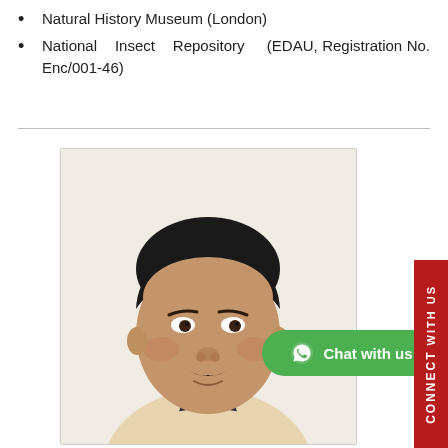Natural History Museum (London)
National Insect Repository (EDAU, Registration No. Enc/001-46)
[Figure (photo): Headshot portrait of a young South Asian man with dark hair, wearing a light beige collared shirt, against a white background. Photo is in a bordered rectangular frame.]